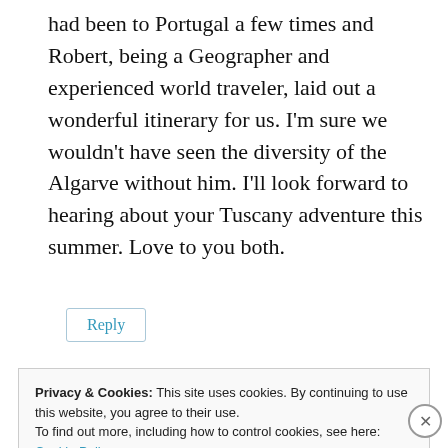had been to Portugal a few times and Robert, being a Geographer and experienced world traveler, laid out a wonderful itinerary for us. I'm sure we wouldn't have seen the diversity of the Algarve without him. I'll look forward to hearing about your Tuscany adventure this summer. Love to you both.
Reply
Privacy & Cookies: This site uses cookies. By continuing to use this website, you agree to their use.
To find out more, including how to control cookies, see here:
Cookie Policy
Close and accept